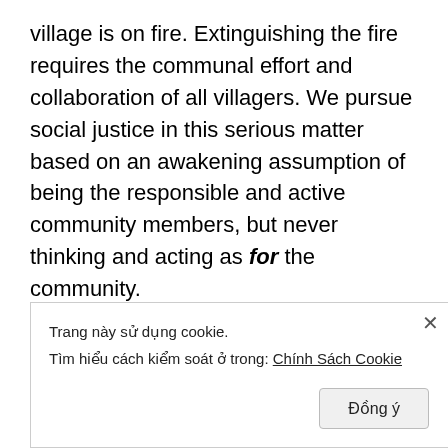village is on fire. Extinguishing the fire requires the communal effort and collaboration of all villagers. We pursue social justice in this serious matter based on an awakening assumption of being the responsible and active community members, but never thinking and acting as for the community.
The Vietnamese community issues do belong to all members and groups, not from a single individual or a “commissioned” group. Our individual responsibility as the self-initiated messenger and doing the best we could is over. Our drumming call for emergency to alert everyone about the fire everywhere is already done. We ask the
[Figure (screenshot): Cookie consent banner in Vietnamese. Text: 'Trang này sử dụng cookie. Tìm hiểu cách kiểm soát ở trong: Chính Sách Cookie' with an X close button and a 'Đồng ý' (Agree) button.]